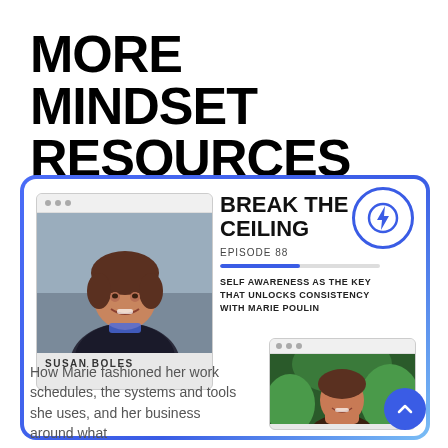MORE MINDSET RESOURCES
[Figure (screenshot): Podcast card for 'Break the Ceiling' Episode 88 featuring Susan Boles photo and episode title 'Self Awareness as the Key that Unlocks Consistency with Marie Poulin', with a second guest photo below]
How Marie fashioned her work schedules, the systems and tools she uses, and her business around what